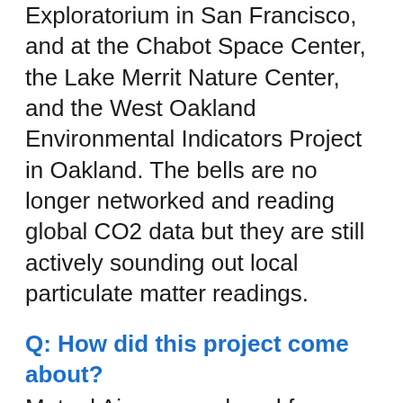Exploratorium in San Francisco, and at the Chabot Space Center, the Lake Merrit Nature Center, and the West Oakland Environmental Indicators Project in Oakland. The bells are no longer networked and reading global CO2 data but they are still actively sounding out local particulate matter readings.
Q: How did this project come about?
Mutual Air was produced from an Artist in Residence project by Rosten Woo and the Exploratorium. Mutual Air is a work of experimental infrastructure designed to give presence to this global and local infrastructure of measuring. To make the colletion of data